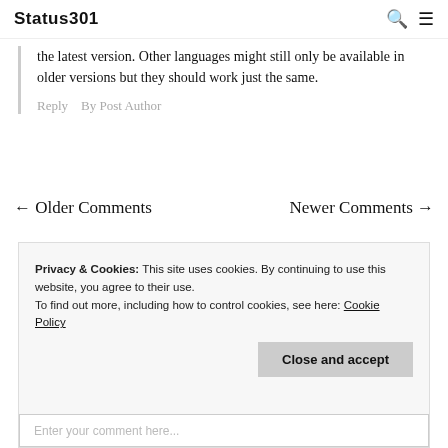Status301
the latest version. Other languages might still only be available in older versions but they should work just the same.
Reply    By Post Author
← Older Comments    Newer Comments →
Privacy & Cookies: This site uses cookies. By continuing to use this website, you agree to their use.
To find out more, including how to control cookies, see here: Cookie Policy
Close and accept
Enter your comment here...